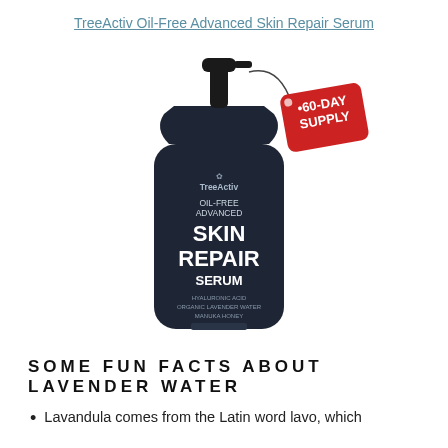TreeActiv Oil-Free Advanced Skin Repair Serum
[Figure (photo): A dark navy/black spray pump bottle of TreeActiv Oil-Free Advanced Skin Repair Serum with a red tag reading '60-DAY SUPPLY' hanging from the pump.]
SOME FUN FACTS ABOUT LAVENDER WATER
Lavandula comes from the Latin word lavo, which